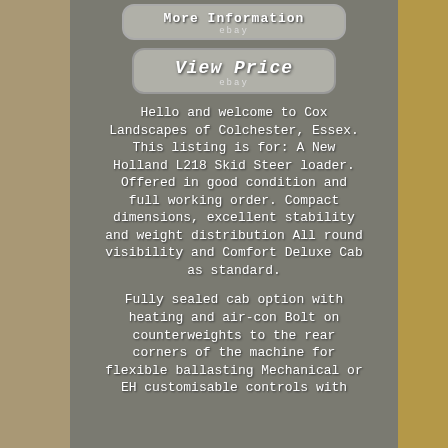[Figure (screenshot): Button labeled 'More Information' with ebay logo underneath, rounded rectangle style]
[Figure (screenshot): Button labeled 'View Price' with ebay logo underneath, rounded rectangle style]
Hello and welcome to Cox Landscapes of Colchester, Essex. This listing is for: A New Holland L218 Skid Steer loader. Offered in good condition and full working order. Compact dimensions, excellent stability and weight distribution All round visibility and Comfort Deluxe Cab as standard.
Fully sealed cab option with heating and air-con Bolt on counterweights to the rear corners of the machine for flexible ballasting Mechanical or EH customisable controls with